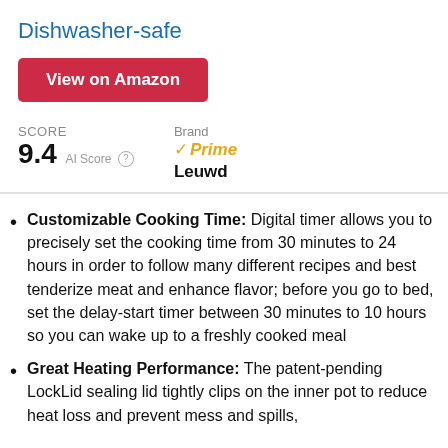Dishwasher-safe
View on Amazon
SCORE 9.4 AI Score
Brand Prime Leuwd
Customizable Cooking Time: Digital timer allows you to precisely set the cooking time from 30 minutes to 24 hours in order to follow many different recipes and best tenderize meat and enhance flavor; before you go to bed, set the delay-start timer between 30 minutes to 10 hours so you can wake up to a freshly cooked meal
Great Heating Performance: The patent-pending LockLid sealing lid tightly clips on the inner pot to reduce heat loss and prevent mess and spills,